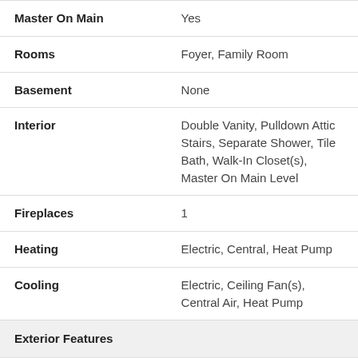| Field | Value |
| --- | --- |
| Master On Main | Yes |
| Rooms | Foyer, Family Room |
| Basement | None |
| Interior | Double Vanity, Pulldown Attic Stairs, Separate Shower, Tile Bath, Walk-In Closet(s), Master On Main Level |
| Fireplaces | 1 |
| Heating | Electric, Central, Heat Pump |
| Cooling | Electric, Ceiling Fan(s), Central Air, Heat Pump |
| Exterior Features |  |
| Construction | Concrete |